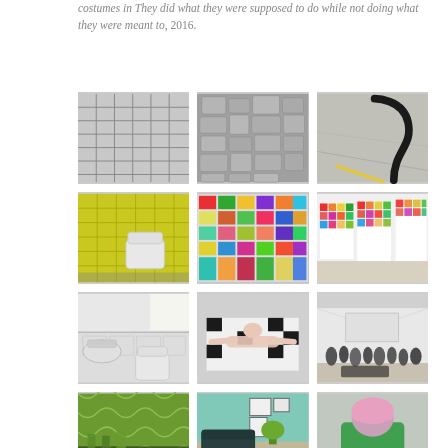costumes in They did what they were supposed to do while not doing what they were meant to, 2016.
[Figure (photo): Grid of 12 photographs arranged in 4 rows of 3. Row 1: white/grey subway tiles, grey paving stones/cobblestones from above, black metal railing/bike rack on concrete. Row 2: yellow tiled bathroom with toilet, patchwork quilt with colorful fabric squares, colorful grid artwork on gallery wall. Row 3: white bathroom with sink and toilet, person lying on black-and-white patterned rug, gallery opening with crowd of people. Row 4 (partial): green patterned wallpaper interior, mint green room interior, person from behind wearing pink hat and green jacket.]